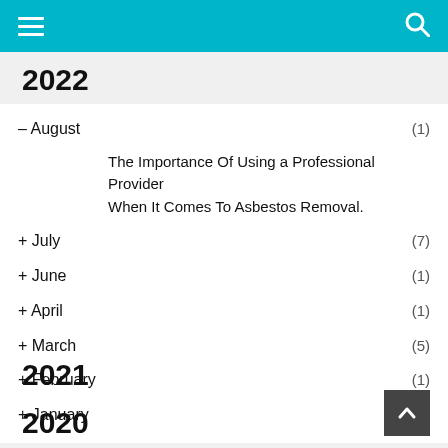Navigation header with menu and search icons
2022
– August (1)
The Importance Of Using a Professional Provider When It Comes To Asbestos Removal.
+ July (7)
+ June (1)
+ April (1)
+ March (5)
+ February (1)
+ January (5)
2021
2020